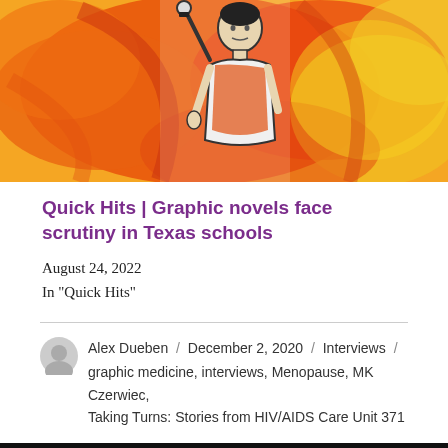[Figure (illustration): Illustrated graphic novel-style artwork showing a person with a raised fist against an orange, red, and yellow painterly background]
Quick Hits | Graphic novels face scrutiny in Texas schools
August 24, 2022
In "Quick Hits"
Alex Dueben / December 2, 2020 / Interviews / graphic medicine, interviews, Menopause, MK Czerwiec, Taking Turns: Stories from HIV/AIDS Care Unit 371